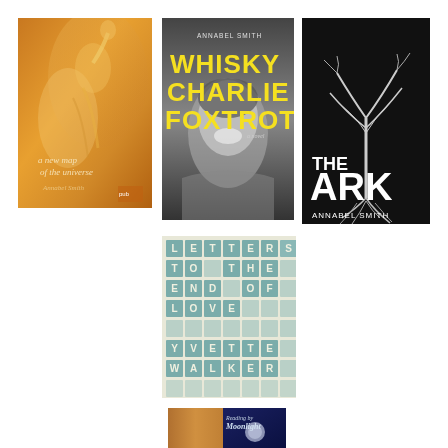[Figure (photo): Book cover: 'A New Map of the Universe' by Annabel Smith. Warm golden/orange tones showing a blurred figure or person reaching upward.]
[Figure (photo): Book cover: 'Whisky Charlie Foxtrot' - a novel by Annabel Smith. Black and white photo of a young man laughing with yellow text overlaid.]
[Figure (photo): Book cover: 'The Ark' by Annabel Smith. Dark/black background with a bare tree or plant with roots, white bold text.]
[Figure (photo): Book cover: 'Letters to the End of Love' by Yvette Walker. Cover shows letters/stamps arranged in a grid pattern spelling out the title and author name.]
[Figure (photo): Book cover: 'Reading by Moonlight' - partially visible at bottom, warm brown/orange tones with a circular moon image.]